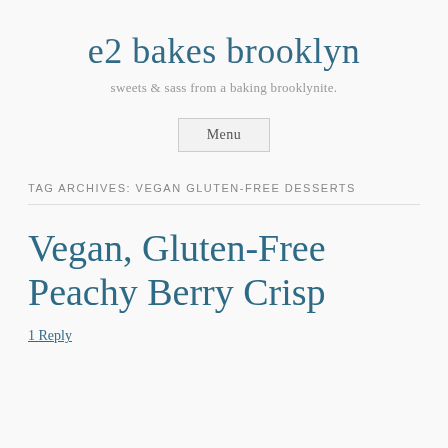e2 bakes brooklyn
sweets & sass from a baking brooklynite.
Menu
TAG ARCHIVES: VEGAN GLUTEN-FREE DESSERTS
Vegan, Gluten-Free Peachy Berry Crisp
1 Reply